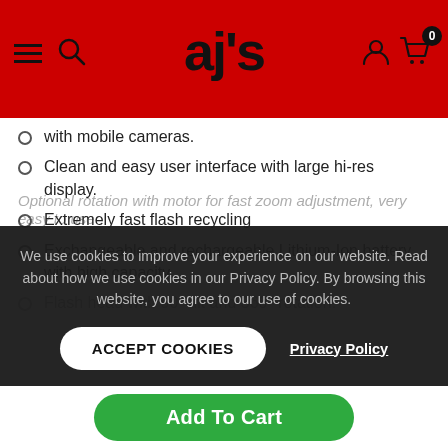ajs
with mobile cameras.
Clean and easy user interface with large hi-res display.
Extremely fast flash recycling
Exchangeable and rechargeable Lithium-Ion battery with high capacity.
Flash head with 90° tilt and 360° rotation.
We use cookies to improve your experience on our website. Read about how we use cookies in our Privacy Policy. By browsing this website, you agree to our use of cookies.
ACCEPT COOKIES
Privacy Policy
Add To Cart